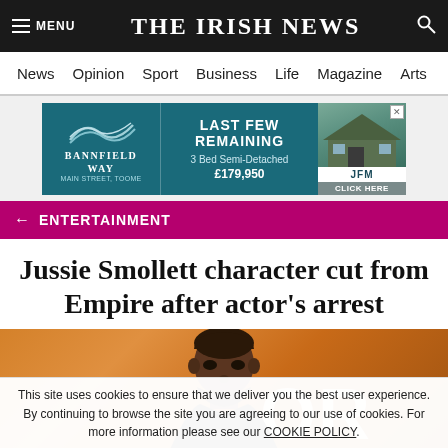THE IRISH NEWS
News  Opinion  Sport  Business  Life  Magazine  Arts
[Figure (other): Advertisement banner for Bannfield Way housing development: LAST FEW REMAINING, 3 Bed Semi-Detached, £179,950, JFM, CLICK HERE]
← ENTERTAINMENT
Jussie Smollett character cut from Empire after actor's arrest
[Figure (photo): Photo of Jussie Smollett against an orange background with partial text OR visible behind him]
This site uses cookies to ensure that we deliver you the best user experience. By continuing to browse the site you are agreeing to our use of cookies. For more information please see our COOKIE POLICY.